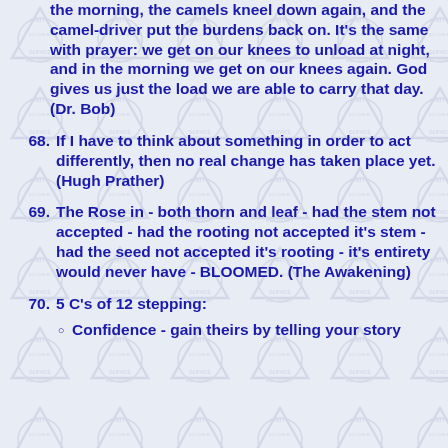the morning, the camels kneel down again, and the camel-driver put the burdens back on. It's the same with prayer: we get on our knees to unload at night, and in the morning we get on our knees again. God gives us just the load we are able to carry that day. (Dr. Bob)
68. If I have to think about something in order to act differently, then no real change has taken place yet. (Hugh Prather)
69. The Rose in - both thorn and leaf - had the stem not accepted - had the rooting not accepted it's stem - had the seed not accepted it's rooting - it's entirety would never have - BLOOMED. (The Awakening)
70. 5 C's of 12 stepping:
Confidence - gain theirs by telling your story